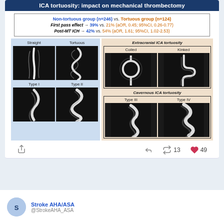ICA tortuosity: impact on mechanical thrombectomy
| Non-tortuous group (n=246) vs. Tortuous group (n=124) |
| First pass effect → 39% vs. 21% (aOR, 0.45; 95%CI, 0.26-0.77) |
| Post-MT ICH → 42% vs. 54% (aOR, 1.61; 95%CI, 1.02-2.53) |
[Figure (photo): Medical illustration showing ICA tortuosity types. Left (blue background): Straight and Tortuous columns with Type I and Type II angiographic images. Right (beige background): Extracranial ICA tortuosity (Coiled and Kinked) and Cavernous ICA tortuosity (Type III and Type IV) angiographic images.]
13 retweets · 49 likes
Stroke AHA/ASA @StrokeAHA_ASA